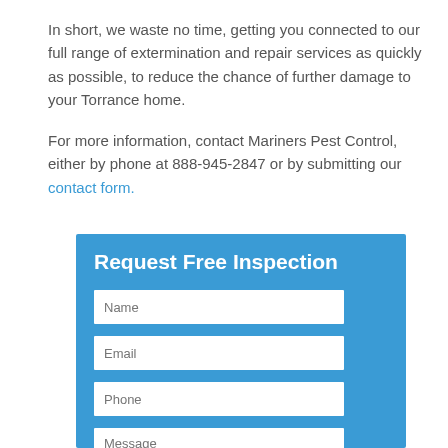In short, we waste no time, getting you connected to our full range of extermination and repair services as quickly as possible, to reduce the chance of further damage to your Torrance home.
For more information, contact Mariners Pest Control, either by phone at 888-945-2847 or by submitting our contact form.
Request Free Inspection
[Figure (other): Web contact form with fields for Name, Email, Phone, and Message on a blue background]